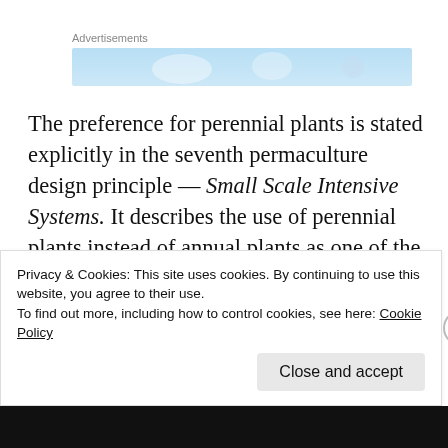Advertisements
[Figure (photo): Advertisement banner with light blue sky background]
The preference for perennial plants is stated explicitly in the seventh permaculture design principle — Small Scale Intensive Systems. It describes the use of perennial plants instead of annual plants as one of the features that differentiates permaculture small scale intensive systems from either conventional commercial or
Privacy & Cookies: This site uses cookies. By continuing to use this website, you agree to their use.
To find out more, including how to control cookies, see here: Cookie Policy
Close and accept